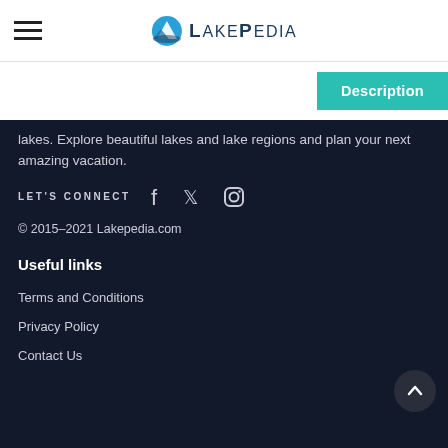LakePedia
Description
lakes. Explore beautiful lakes and lake regions and plan your next amazing vacation.
LET'S CONNECT
© 2015–2021 Lakepedia.com
Useful links
Terms and Conditions
Privacy Policy
Contact Us